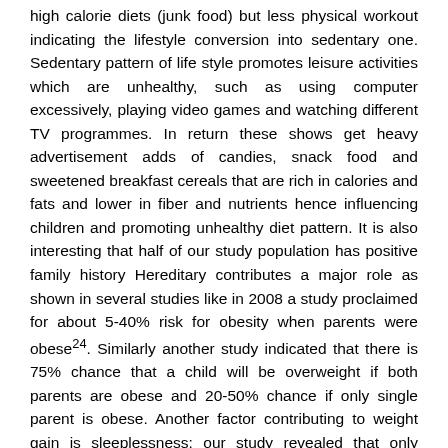high calorie diets (junk food) but less physical workout indicating the lifestyle conversion into sedentary one. Sedentary pattern of life style promotes leisure activities which are unhealthy, such as using computer excessively, playing video games and watching different TV programmes. In return these shows get heavy advertisement adds of candies, snack food and sweetened breakfast cereals that are rich in calories and fats and lower in fiber and nutrients hence influencing children and promoting unhealthy diet pattern. It is also interesting that half of our study population has positive family history Hereditary contributes a major role as shown in several studies like in 2008 a study proclaimed for about 5-40% risk for obesity when parents were obese24. Similarly another study indicated that there is 75% chance that a child will be overweight if both parents are obese and 20-50% chance if only single parent is obese. Another factor contributing to weight gain is sleeplessness; our study revealed that only 13.3% children had 8 or more